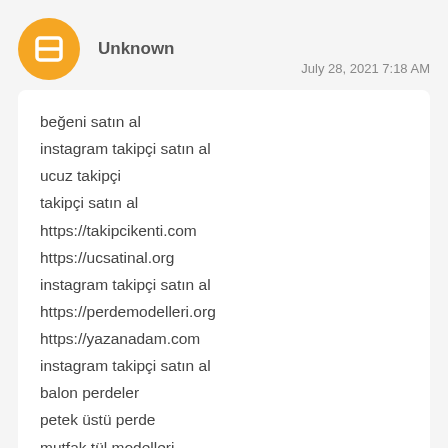[Figure (illustration): Blogger user avatar: orange circle with white letter B]
Unknown
July 28, 2021 7:18 AM
beğeni satın al
instagram takipçi satın al
ucuz takipçi
takipçi satın al
https://takipcikenti.com
https://ucsatinal.org
instagram takipçi satın al
https://perdemodelleri.org
https://yazanadam.com
instagram takipçi satın al
balon perdeler
petek üstü perde
mutfak tül modelleri
kısa perde modelleri